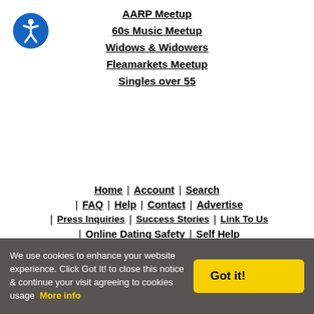[Figure (logo): Blue circle accessibility icon with white person figure]
AARP Meetup
60s Music Meetup
Widows & Widowers
Fleamarkets Meetup
Singles over 55
Home | Account | Search
| FAQ | Help | Contact | Advertise
| Press Inquiries | Success Stories | Link To Us
| Online Dating Safety | Self Help
| Online Dating Directory Webmasters
We use cookies to enhance your website experience. Click Got It! to close this notice & continue your visit agreeing to cookies usage  More info
Got it!